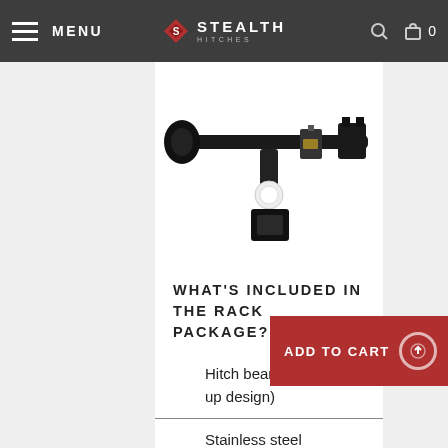MENU | STEALTH HITCHES | 0
[Figure (photo): Photo of a black hitch beam (bolt up design) with a white latching mechanism component and black receiver mount, displayed against a white background.]
WHAT'S INCLUDED IN THE RACK PACKAGE?
Hitch beam (bolt up design)
Stainless steel latching mechanism w/ integral lock